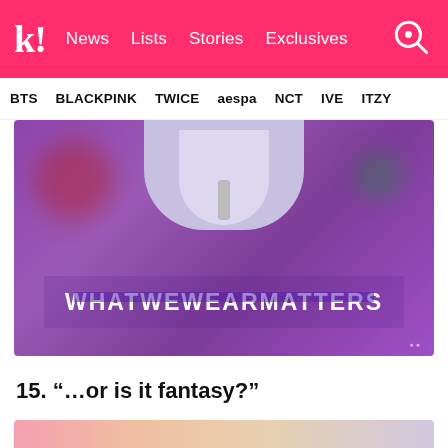k! News Lists Stories Exclusives
BTS BLACKPINK TWICE aespa NCT IVE ITZY
[Figure (photo): Close-up photo of a person wearing a purple/violet sweatshirt with text 'WHATWEWEARMATTERS' printed on the chest, and a white hoodie underneath. Background is blurred with red and other colors.]
15. “…or is it fantasy?”
[Figure (photo): Partial view of another photo at the bottom of the page, showing blurred colorful background.]